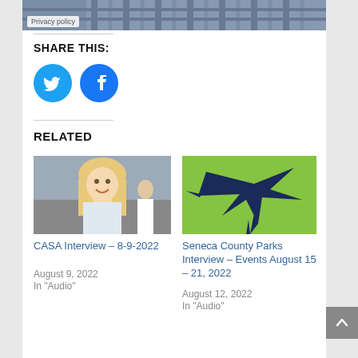[Figure (photo): Partial photo of a person in a plaid shirt, top of the page, with a Privacy policy badge overlay]
Privacy policy
SHARE THIS:
[Figure (illustration): Twitter bird icon in white on cyan circle]
[Figure (illustration): Facebook f icon in white on blue circle]
RELATED
[Figure (photo): Smiling blonde woman at an indoor event, related article thumbnail for CASA Interview]
CASA Interview – 8-9-2022
August 9, 2022
In "Audio"
[Figure (illustration): Stylized dark blue bird silhouette on lime green background, related article thumbnail for Seneca County Parks Interview]
Seneca County Parks Interview – Events August 15 – 21, 2022
August 12, 2022
In "Audio"